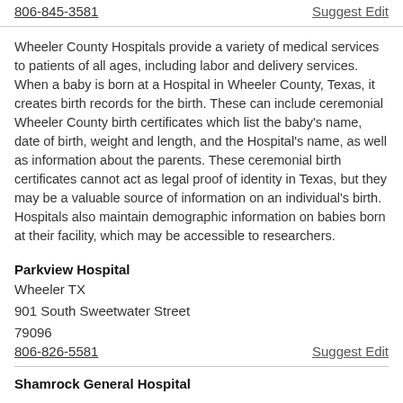806-845-3581
Suggest Edit
Wheeler County Hospitals provide a variety of medical services to patients of all ages, including labor and delivery services. When a baby is born at a Hospital in Wheeler County, Texas, it creates birth records for the birth. These can include ceremonial Wheeler County birth certificates which list the baby's name, date of birth, weight and length, and the Hospital's name, as well as information about the parents. These ceremonial birth certificates cannot act as legal proof of identity in Texas, but they may be a valuable source of information on an individual's birth. Hospitals also maintain demographic information on babies born at their facility, which may be accessible to researchers.
Parkview Hospital
Wheeler TX
901 South Sweetwater Street
79096
806-826-5581
Suggest Edit
Shamrock General Hospital